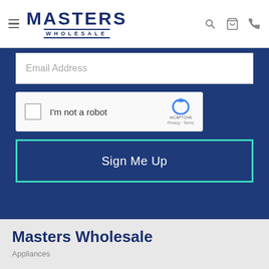[Figure (logo): Masters Wholesale logo with hamburger menu icon and header icons (search, cart, phone)]
Email Address
[Figure (screenshot): reCAPTCHA widget with checkbox labeled 'I'm not a robot' and reCAPTCHA logo]
Sign Me Up
Masters Wholesale
Appliances